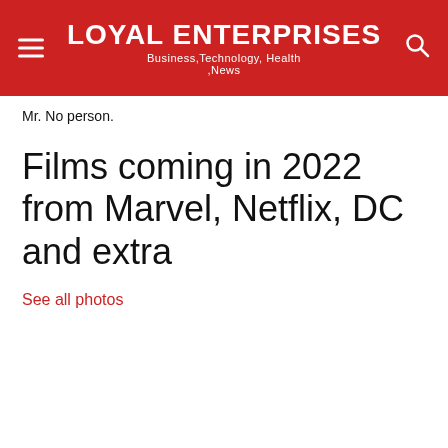LOYAL ENTERPRISES Business,Technology, Health ,News
Mr. No person.
Films coming in 2022 from Marvel, Netflix, DC and extra
See all photos